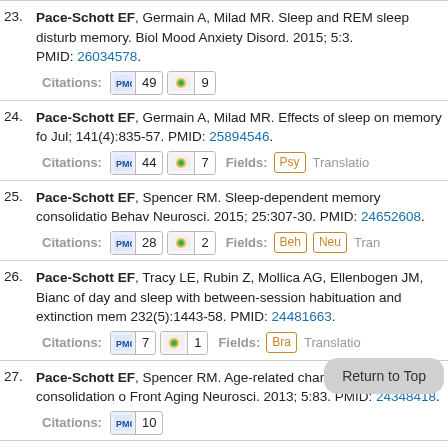23. Pace-Schott EF, Germain A, Milad MR. Sleep and REM sleep disturb... memory. Biol Mood Anxiety Disord. 2015; 5:3. PMID: 26034578. Citations: PMC 49 Altmetric 9
24. Pace-Schott EF, Germain A, Milad MR. Effects of sleep on memory fo... Jul; 141(4):835-57. PMID: 25894546. Citations: PMC 44 Altmetric 7 Fields: Psy Translatio
25. Pace-Schott EF, Spencer RM. Sleep-dependent memory consolidatio... Behav Neurosci. 2015; 25:307-30. PMID: 24652608. Citations: PMC 28 Altmetric 2 Fields: Beh Neu Tran
26. Pace-Schott EF, Tracy LE, Rubin Z, Mollica AG, Ellenbogen JM, Bianc... of day and sleep with between-session habituation and extinction mem... 232(5):1443-58. PMID: 24481663. Citations: PMC 7 Altmetric 1 Fields: Bra Translatio
27. Pace-Schott EF, Spencer RM. Age-related changes in consolidation o... Front Aging Neurosci. 2013; 5:83. PMID: 24348418. Citations: PMC 10
28. Pace-Schott EF, Spencer RM, Vijayakumar S, Ahmed NA, Verga PW,...